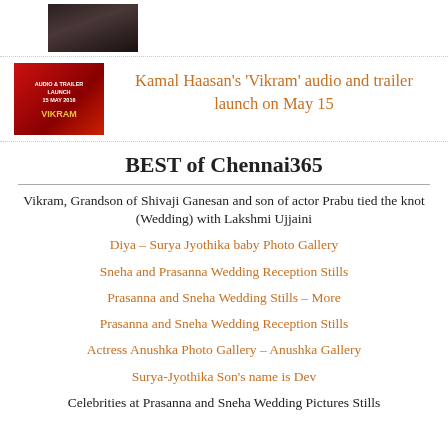[Figure (photo): Small dark thumbnail image at top left]
[Figure (photo): Vikram audio and trailer launch red poster thumbnail]
Kamal Haasan's ‘Vikram’ audio and trailer launch on May 15
BEST of Chennai365
Vikram, Grandson of Shivaji Ganesan and son of actor Prabu tied the knot (Wedding) with Lakshmi Ujjaini
Diya – Surya Jyothika baby Photo Gallery
Sneha and Prasanna Wedding Reception Stills
Prasanna and Sneha Wedding Stills – More
Prasanna and Sneha Wedding Reception Stills
Actress Anushka Photo Gallery – Anushka Gallery
Surya-Jyothika Son’s name is Dev
Celebrities at Prasanna and Sneha Wedding Pictures Stills